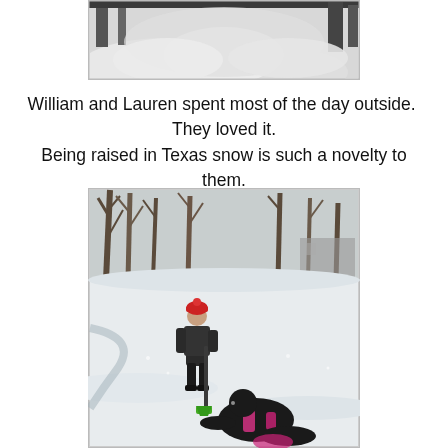[Figure (photo): Close-up photograph of a snow sculpture or snow mound near a fence, black and white/grayscale tones]
William and Lauren spent most of the day outside.  They loved it.
Being raised in Texas snow is such a novelty to them.
[Figure (photo): Outdoor winter photo of two children playing in the snow. One child stands holding a green shovel wearing a red hat and dark jacket; another child sits in the snow in the foreground wearing black and pink. Bare trees and snow-covered ground visible in background.]